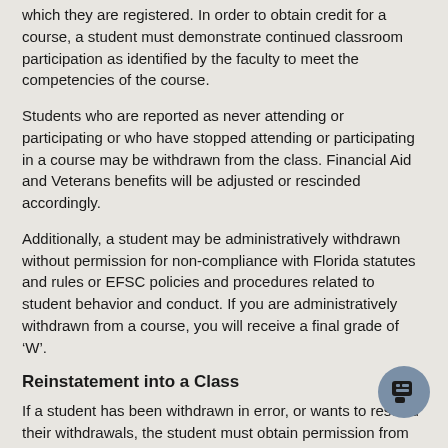which they are registered. In order to obtain credit for a course, a student must demonstrate continued classroom participation as identified by the faculty to meet the competencies of the course.
Students who are reported as never attending or participating or who have stopped attending or participating in a course may be withdrawn from the class. Financial Aid and Veterans benefits will be adjusted or rescinded accordingly.
Additionally, a student may be administratively withdrawn without permission for non-compliance with Florida statutes and rules or EFSC policies and procedures related to student behavior and conduct. If you are administratively withdrawn from a course, you will receive a final grade of ‘W’.
Reinstatement into a Class
If a student has been withdrawn in error, or wants to rescind their withdrawals, the student must obtain permission from the instructor. The instructor must email censusreporting@easternflorida.edu to authorize the student reinstatement.